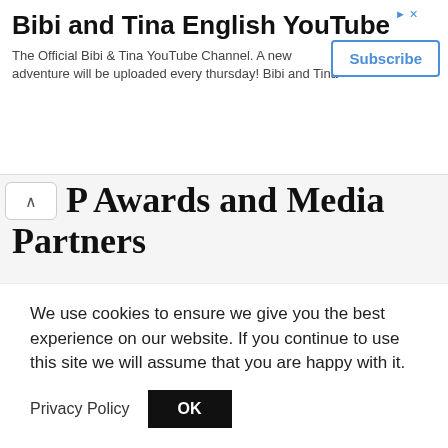[Figure (screenshot): Advertisement banner for Bibi and Tina English YouTube channel with Subscribe button, close icon, and ad indicator arrow]
Awards and Media Partners
[Figure (logo): Press Freedom Awards 2019 logo - black trapezoid with PRESS FREEDOM AWARDS 2019 REPORTERS WITHOUT BORDERS AWARD FOR INDEPENDENCE text in red banner]
[Figure (logo): Sifted / FT logo with text BEST EUROPEAN MEDIA STARTUPS 2021]
[Figure (logo): International Press Institute IPI logo - blue grid pattern with text Defending press freedom since 1950]
We use cookies to ensure we give you the best experience on our website. If you continue to use this site we will assume that you are happy with it.
Privacy Policy   OK